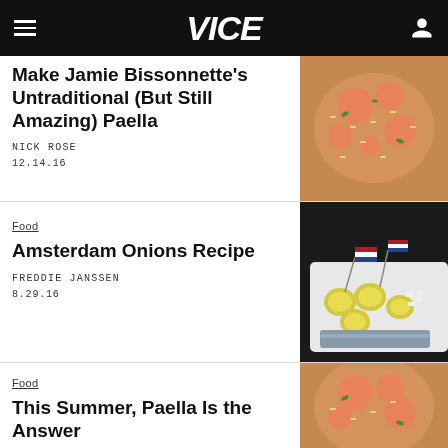VICE
Make Jamie Bissonnette's Untraditional (But Still Amazing) Paella
NICK ROSE
12.14.16
[Figure (photo): Close-up of paella with shrimp and rice]
Food
Amsterdam Onions Recipe
FREDDIE JANSSEN
8.29.16
[Figure (photo): Plate with pickled onions and Dutch flags, herring in background]
Food
This Summer, Paella Is the Answer
BECKY HUGHES
[Figure (photo): Close-up of paella with shrimp and rice]